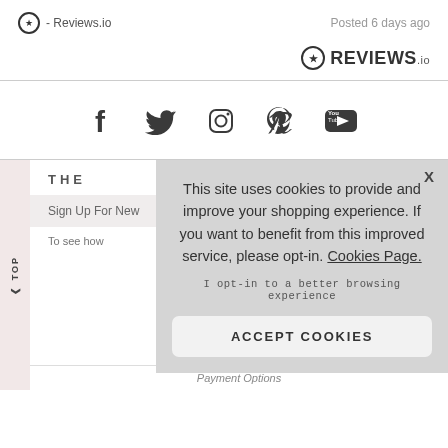- Reviews.io    Posted 6 days ago
[Figure (logo): REVIEWS.io logo with star circle icon]
[Figure (infographic): Social media icons row: Facebook, Twitter, Instagram, Pinterest, YouTube]
THE
Sign Up For New
To see how
TOP
This site uses cookies to provide and improve your shopping experience. If you want to benefit from this improved service, please opt-in. Cookies Page.
I opt-in to a better browsing experience
ACCEPT COOKIES
Payment Options